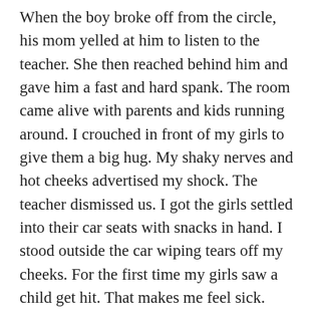When the boy broke off from the circle, his mom yelled at him to listen to the teacher. She then reached behind him and gave him a fast and hard spank. The room came alive with parents and kids running around. I crouched in front of my girls to give them a big hug. My shaky nerves and hot cheeks advertised my shock. The teacher dismissed us. I got the girls settled into their car seats with snacks in hand. I stood outside the car wiping tears off my cheeks. For the first time my girls saw a child get hit. That makes me feel sick.
Growing up I was subjected to many horrors of discipline for things that in hindsight were not my fault. The anger from my dad and the emotional and physical abuse made me protect my children even harder. I don't know anyone who would have spanked their child so publicly in front of their kid's